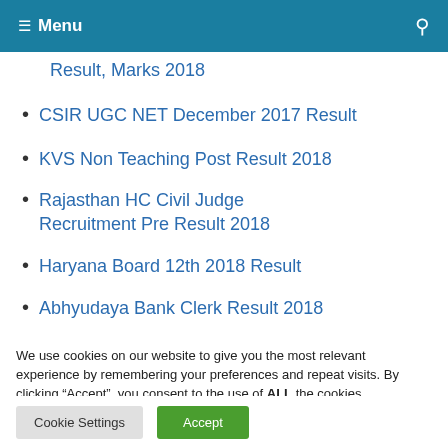Menu
Result, Marks 2018
CSIR UGC NET December 2017 Result
KVS Non Teaching Post Result 2018
Rajasthan HC Civil Judge Recruitment Pre Result 2018
Haryana Board 12th 2018 Result
Abhyudaya Bank Clerk Result 2018
SSC MTS 2016 Tier II Marks
We use cookies on our website to give you the most relevant experience by remembering your preferences and repeat visits. By clicking “Accept”, you consent to the use of ALL the cookies.
Do not sell my personal information.